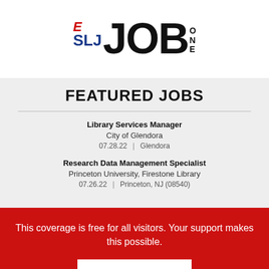[Figure (logo): SLJ JOB ONE logo — SLJ in blue/red, JOB in large bold black, ONE stacked on right]
FEATURED JOBS
Library Services Manager | City of Glendora | 07.28.22 | Glendora
Research Data Management Specialist | Princeton University, Firestone Library | 07.26.22 | Princeton, NJ (08540)
This coverage is free for all visitors. Your support makes this possible.
SUBSCRIBE